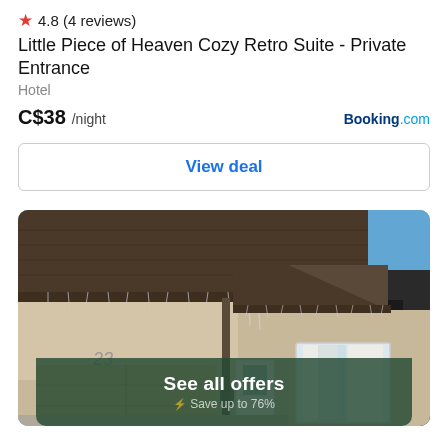★ 4.8 (4 reviews)
Little Piece of Heaven Cozy Retro Suite - Private Entrance
Hotel
C$38 /night   Booking.com
View deal
[Figure (photo): Exterior photo of a residential house with number 23 on the wall, brown shingled roof with icicle lights, beige stucco walls, a garage door, front entrance door, and a bay window. Clear blue sky in background.]
See all offers
Save up to 76%